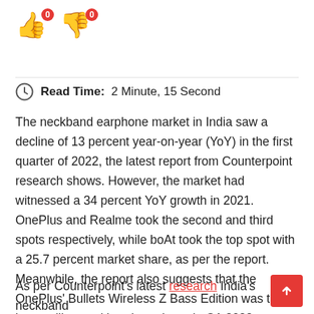[Figure (illustration): Thumbs up emoji (blue) with red badge showing 0, and thumbs down emoji (orange/tan) with red badge showing 0]
Read Time:  2 Minute, 15 Second
The neckband earphone market in India saw a decline of 13 percent year-on-year (YoY) in the first quarter of 2022, the latest report from Counterpoint research shows. However, the market had witnessed a 34 percent YoY growth in 2021. OnePlus and Realme took the second and third spots respectively, while boAt took the top spot with a 25.7 percent market share, as per the report. Meanwhile, the report also suggests that the OnePlus' Bullets Wireless Z Bass Edition was the best-selling neckband earphone in Q1 2022.
As per Counterpoint's latest research India's neckband earphones market has declined by 13 percent YoY in